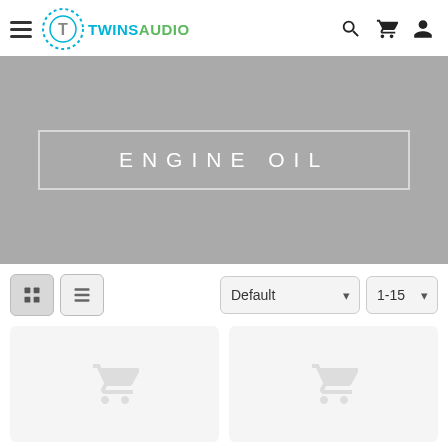[Figure (logo): TwinsAudio logo with circular dotted emblem and hamburger menu icon on the left; search, cart, and user icons on the right]
ENGINE OIL
[Figure (screenshot): Toolbar with grid and list view toggle buttons, Default sort dropdown, and 1-15 per-page dropdown]
[Figure (screenshot): Two product placeholder cards with ghost cart icons]